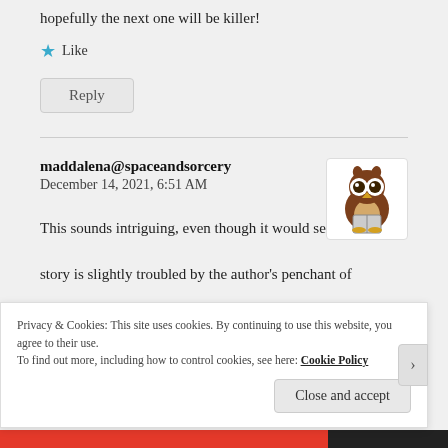hopefully the next one will be killer!
★ Like
Reply
maddalena@spaceandsorcery
December 14, 2021, 6:51 AM
[Figure (illustration): Cartoon owl avatar holding a book, brown with large round eyes, on white background]
This sounds intriguing, even though it would seem that the story is slightly troubled by the author's penchant of
Privacy & Cookies: This site uses cookies. By continuing to use this website, you agree to their use.
To find out more, including how to control cookies, see here: Cookie Policy
Close and accept